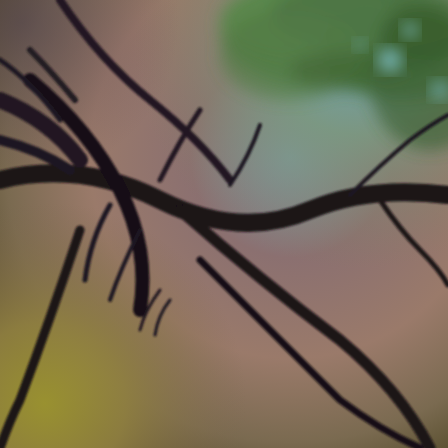[Figure (photo): Close-up photograph of dark tree branches silhouetted against a colorful blurred background. The upper right shows green pine needles with a cool blue-teal sky. The center and left areas have warm brownish-mauve tones fading to golden yellow-green in the lower left corner. Multiple curved and straight dark branches cross the frame diagonally, creating an abstract natural pattern.]